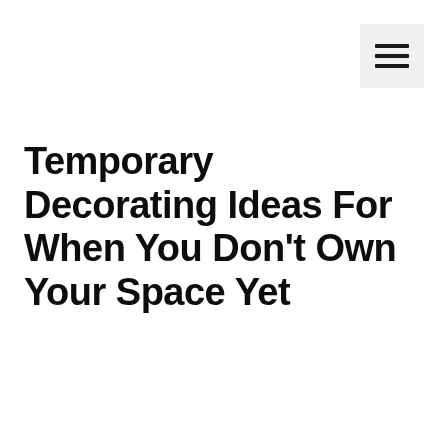[Figure (other): Hamburger menu icon button with three horizontal bars on a light gray background, positioned in the top-right corner]
Temporary Decorating Ideas For When You Don't Own Your Space Yet